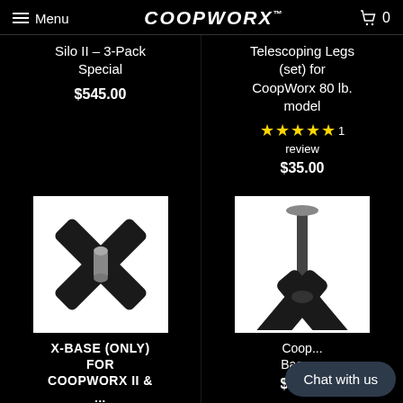Menu COOPWORX 0
Silo II - 3-Pack Special
$545.00
Telescoping Legs (set) for CoopWorx 80 lb. model
★★★★★ 1 review
$35.00
[Figure (photo): X-shaped base product with center metal post, viewed from above, on white background]
X-BASE (ONLY) FOR COOPWORX II & ...
[Figure (photo): X-shaped base product with tall vertical metal post and disc top, on white background]
Coop... Base ...
$65.00